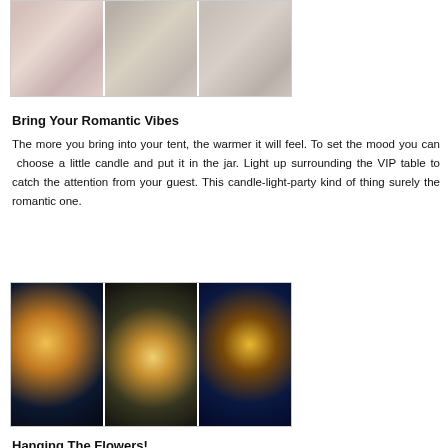[Figure (photo): Three side-by-side photos of wedding table decorations with flowers and elegant chairs]
Bring Your Romantic Vibes
The more you bring into your tent, the warmer it will feel. To set the mood you can choose a little candle and put it in the jar. Light up surrounding the VIP table to catch the attention from your guest. This candle-light-party kind of thing surely the romantic one.
[Figure (photo): Three side-by-side photos of candle lights and bokeh glowing lights in dark settings]
Hanging The Flowers!